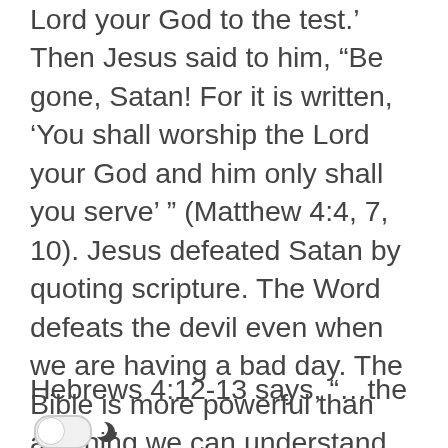Lord your God to the test.' Then Jesus said to him, “Be gone, Satan! For it is written, ‘You shall worship the Lord your God and him only shall you serve’ ” (Matthew 4:4, 7, 10). Jesus defeated Satan by quoting scripture. The Word defeats the devil even when we are having a bad day. The Bible is more powerful than anything we can understand.
Hebrews 4:12-13 says, “…the word of God is living and active